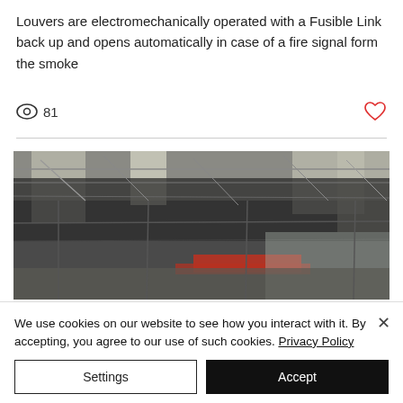Louvers are electromechanically operated with a Fusible Link back up and opens automatically in case of a fire signal form the smoke
[Figure (photo): Interior view of an industrial building or warehouse showing roof structure with steel trusses, skylights, and what appears to be a red overhead crane. The space is large and dark with light filtering through the roof.]
We use cookies on our website to see how you interact with it. By accepting, you agree to our use of such cookies. Privacy Policy